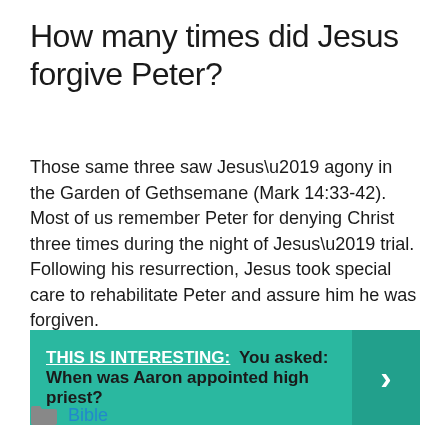How many times did Jesus forgive Peter?
Those same three saw Jesus’ agony in the Garden of Gethsemane (Mark 14:33-42). Most of us remember Peter for denying Christ three times during the night of Jesus’ trial. Following his resurrection, Jesus took special care to rehabilitate Peter and assure him he was forgiven.
THIS IS INTERESTING:  You asked: When was Aaron appointed high priest?
Bible